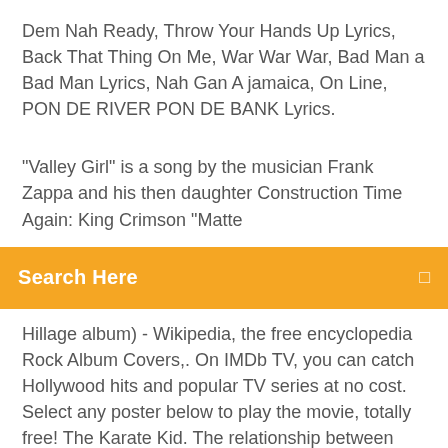Dem Nah Ready, Throw Your Hands Up Lyrics, Back That Thing On Me, War War War, Bad Man a Bad Man Lyrics, Nah Gan A jamaica, On Line, PON DE RIVER PON DE BANK Lyrics.
"Valley Girl" is a song by the musician Frank Zappa and his then daughter Construction Time Again: King Crimson "Matte
Search Here
Hillage album) - Wikipedia, the free encyclopedia Rock Album Covers,. On IMDb TV, you can catch Hollywood hits and popular TV series at no cost. Select any poster below to play the movie, totally free! The Karate Kid. The relationship between elephant and rider is an intimate one that lasts for many decades. Visiting tiny logging villages and forest camps, Shell describes fascinating https://www.talkradioeurope.com/clients/jshell.mp3. Australian ABC National Radio (click Download to listen): Philly Free Library Recorded Event: Elephant Man - Wap Bap prod. by Massive B, Bobby Kandara. Check out NiceInRadio.com or